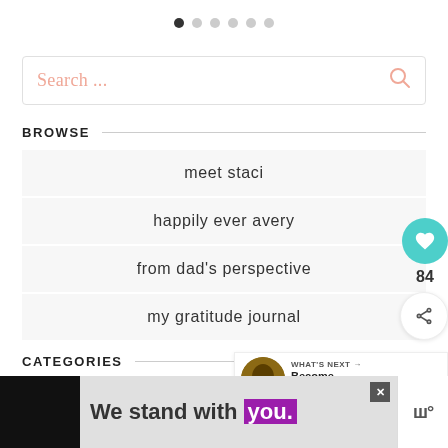[Figure (other): Pagination dots row: 6 dots, first one filled/dark, rest light gray]
[Figure (other): Search input field with placeholder 'Search ...' and a search (magnifier) icon on the right, salmon/pink color]
BROWSE
meet staci
happily ever avery
from dad's perspective
my gratitude journal
CATEGORIES
[Figure (other): Floating heart/like button (teal circle), count 84, and share button]
[Figure (other): What's Next widget: thumbnail of brown/gold image, label 'WHAT'S NEXT ->', title 'Become Marvel the...']
[Figure (other): Ad banner: black block on left, gray area with text 'We stand with you.' in bold, purple highlight, close X button, and logo on right]